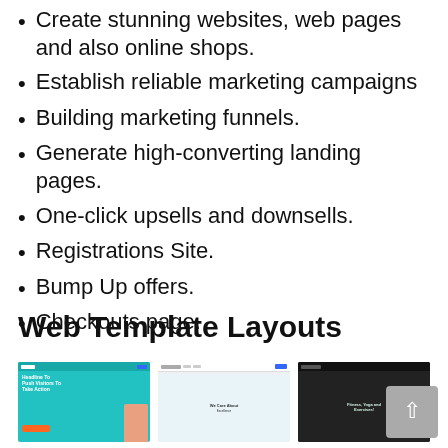Create stunning websites, web pages and also online shops.
Establish reliable marketing campaigns
Building marketing funnels.
Generate high-converting landing pages.
One-click upsells and downsells.
Registrations Site.
Bump Up offers.
Checkouts page.
Web Template Layouts
[Figure (screenshot): Three website template layout screenshots displayed side by side: a teal/cyan template with a person and headline, a white template with 'We Care About' text, and a dark/black fitness template with green text.]